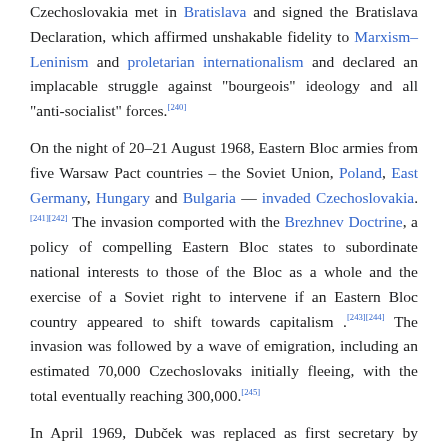Czechoslovakia met in Bratislava and signed the Bratislava Declaration, which affirmed unshakable fidelity to Marxism–Leninism and proletarian internationalism and declared an implacable struggle against "bourgeois" ideology and all "anti-socialist" forces.[240]
On the night of 20–21 August 1968, Eastern Bloc armies from five Warsaw Pact countries – the Soviet Union, Poland, East Germany, Hungary and Bulgaria — invaded Czechoslovakia.[241][242] The invasion comported with the Brezhnev Doctrine, a policy of compelling Eastern Bloc states to subordinate national interests to those of the Bloc as a whole and the exercise of a Soviet right to intervene if an Eastern Bloc country appeared to shift towards capitalism .[243][244] The invasion was followed by a wave of emigration, including an estimated 70,000 Czechoslovaks initially fleeing, with the total eventually reaching 300,000.[245]
In April 1969, Dubček was replaced as first secretary by Gustáv Husák, and a period of "normalization" began.[246] Husák reversed Dubček's reforms, purged the party of liberal members, dismissed opponents from public office, reinstated the power of the police